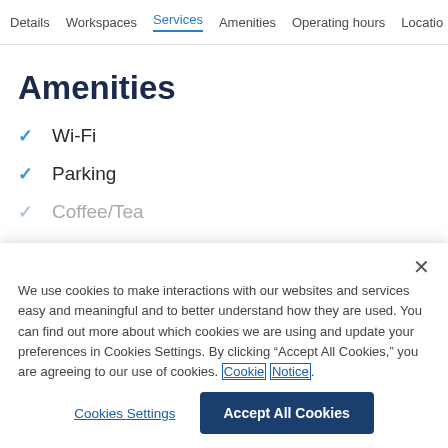Details  Workspaces  Services  Amenities  Operating hours  Locatio
Amenities
Wi-Fi
Parking
Coffee/Tea
We use cookies to make interactions with our websites and services easy and meaningful and to better understand how they are used. You can find out more about which cookies we are using and update your preferences in Cookies Settings. By clicking “Accept All Cookies,” you are agreeing to our use of cookies. Cookie Notice.
Cookies Settings
Accept All Cookies